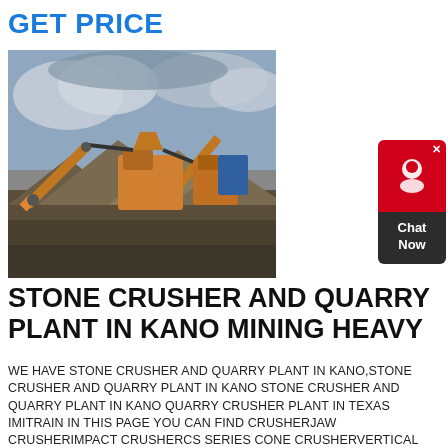GET PRICE
[Figure (photo): Outdoor photograph of a stone crusher and quarry plant with orange conveyor belts, heavy machinery, and large piles of crushed stone/gravel against a cloudy sky.]
STONE CRUSHER AND QUARRY PLANT IN KANO MINING HEAVY
WE HAVE STONE CRUSHER AND QUARRY PLANT IN KANO,STONE CRUSHER AND QUARRY PLANT IN KANO STONE CRUSHER AND QUARRY PLANT IN KANO QUARRY CRUSHER PLANT IN TEXAS IMITRAIN IN THIS PAGE YOU CAN FIND CRUSHERJAW CRUSHERIMPACT CRUSHERCS SERIES CONE CRUSHERVERTICAL ROLLER MILLBALL MILLWE COMPANY IS A PROFESSIONAL MANUFACTURE